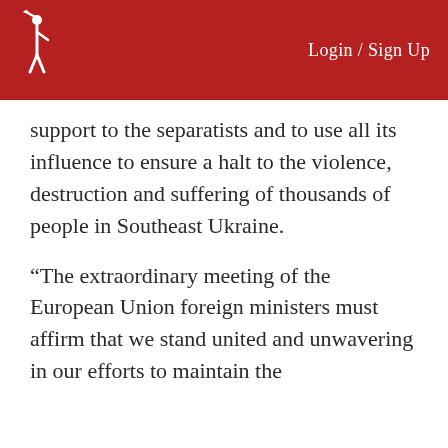Login / Sign Up
support to the separatists and to use all its influence to ensure a halt to the violence, destruction and suffering of thousands of people in Southeast Ukraine.
“The extraordinary meeting of the European Union foreign ministers must affirm that we stand united and unwavering in our efforts to maintain the